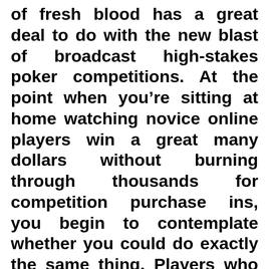of fresh blood has a great deal to do with the new blast of broadcast high-stakes poker competitions. At the point when you're sitting at home watching novice online players win a great many dollars without burning through thousands for competition purchase ins, you begin to contemplate whether you could do exactly the same thing. Players who never played before abruptly need to gain proficiency with the game. Relaxed kitchen-table players conclude that they need to further develop their poker abilities by playing